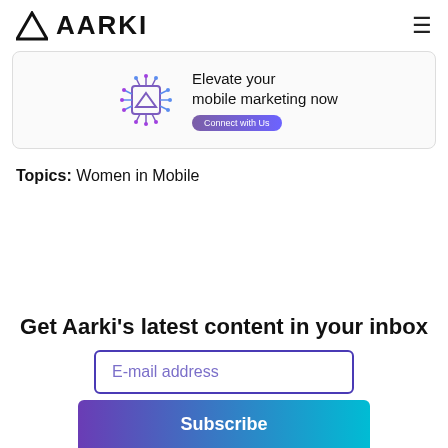AARKI
[Figure (infographic): Aarki ad banner with chip/circuit icon, text 'Elevate your mobile marketing now' and 'Connect with Us' button]
Topics: Women in Mobile
Get Aarki's latest content in your inbox
E-mail address
Subscribe